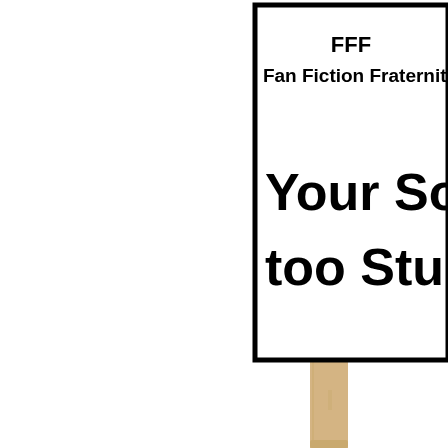[Figure (other): A protest-style sign on a wooden stick, partially cropped. The sign has a black border on a white background. At the top it reads 'FFF' and 'Fan Fiction Fraternity'. Below in large bold text: 'Your Sookie is too Stupid!' The wooden stick extends below the sign into the lower portion of the image.]